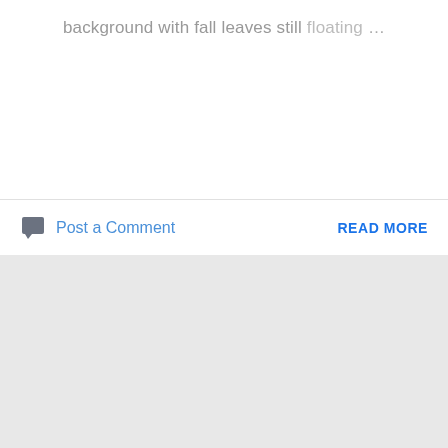background with fall leaves still floating … ...
Post a Comment
READ MORE